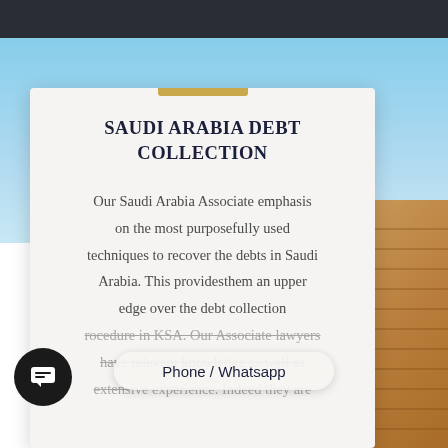SAUDI ARABIA DEBT COLLECTION
Our Saudi Arabia Associate emphasis on the most purposefully used techniques to recover the debts in Saudi Arabia. This providesthem an upper edge over the debt collection procedure in KSA. Our Associate lawyers have relevant knowledge as well as extensive experience. Indeed they are
Phone / Whatsapp